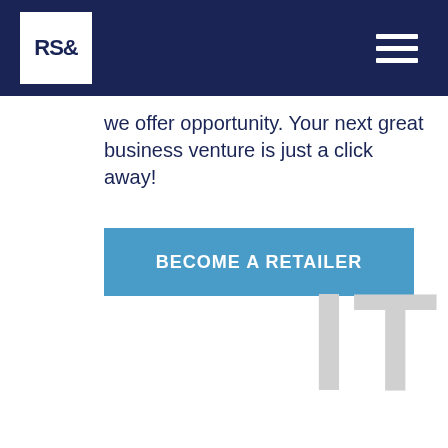RS& logo and navigation
we offer opportunity. Your next great business venture is just a click away!
BECOME A RETAILER
[Figure (other): Large light gray letters 'IT' watermark in bottom right corner]